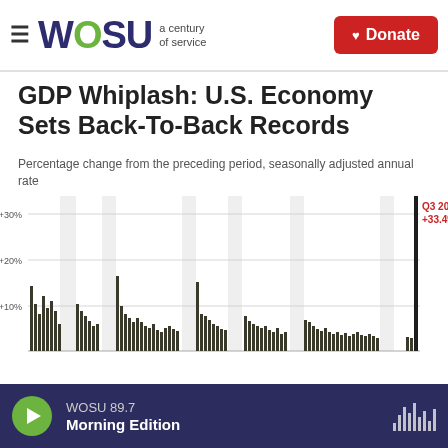WOSU a century of service | Donate
GDP Whiplash: U.S. Economy Sets Back-To-Back Records
Percentage change from the preceding period, seasonally adjusted annual rate
[Figure (bar-chart): Bar chart showing quarterly GDP percentage change from preceding period, seasonally adjusted annual rate. Most bars are between 0% and +15%, with a dramatic spike to +33.4% in Q3 2020, labeled in red.]
WOSU 89.7 Morning Edition